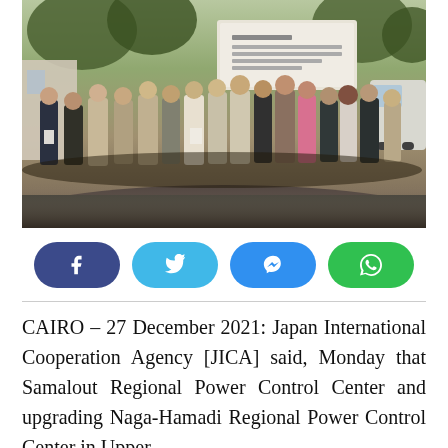[Figure (photo): Group photo of approximately 20 people standing outdoors in front of a large sign board, taken during a JICA project visit in Egypt. People are dressed in business attire. Trees and a white van are visible in the background.]
[Figure (infographic): Row of four social media share buttons: Facebook (dark blue), Twitter (light blue), Messenger (blue), WhatsApp (green)]
CAIRO – 27 December 2021: Japan International Cooperation Agency [JICA] said, Monday that Samalout Regional Power Control Center and upgrading Naga-Hamadi Regional Power Control Center in Upper